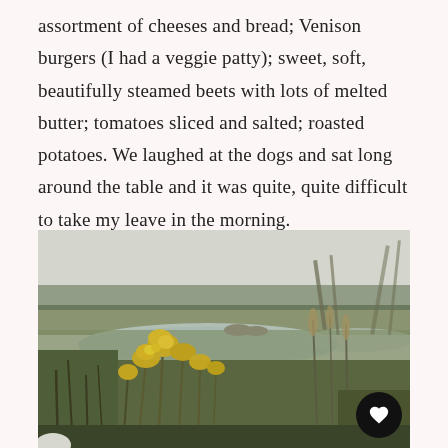assortment of cheeses and bread; Venison burgers (I had a veggie patty); sweet, soft, beautifully steamed beets with lots of melted butter; tomatoes sliced and salted; roasted potatoes. We laughed at the dogs and sat long around the table and it was quite, quite difficult to take my leave in the morning.
[Figure (photo): Outdoor landscape photo of a coastal marsh or wetland scene. In the foreground are yellow wildflowers (goldenrod) and tall grass stalks. Behind them is a still reflective pond or tidal inlet. In the middle distance is flat marshland with what appears to be horses or large animals grazing. The background shows a treeline under a misty, overcast sky.]